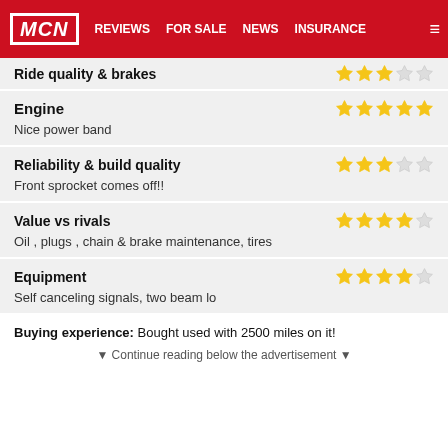MCN | REVIEWS | FOR SALE | NEWS | INSURANCE
Ride quality & brakes
Engine
Nice power band
Reliability & build quality
Front sprocket comes off!!
Value vs rivals
Oil , plugs , chain & brake maintenance, tires
Equipment
Self canceling signals, two beam lo
Buying experience: Bought used with 2500 miles on it!
▼ Continue reading below the advertisement ▼